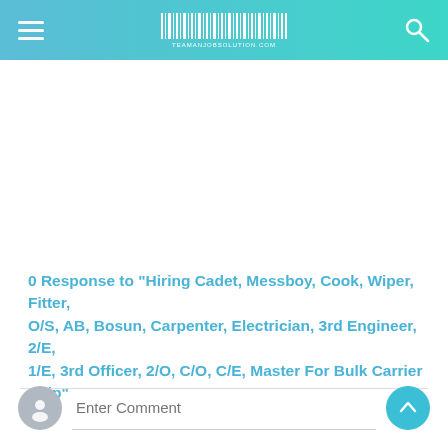TEAMANJOBSOLUTION.COM
0 Response to "Hiring Cadet, Messboy, Cook, Wiper, Fitter, O/S, AB, Bosun, Carpenter, Electrician, 3rd Engineer, 2/E, 1/E, 3rd Officer, 2/O, C/O, C/E, Master For Bulk Carrier Ship"